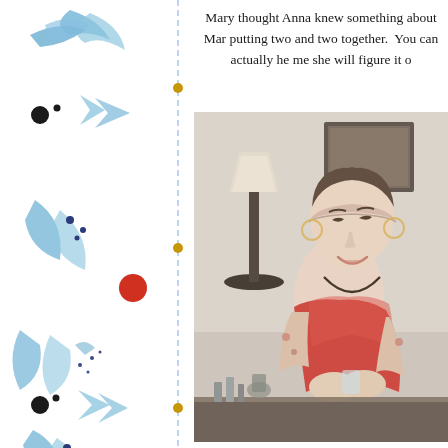[Figure (illustration): Decorative left border with blue watercolor flower and leaf motifs, small black dots, red berry/heart shapes, arranged vertically along a dashed blue vertical line with gold dots]
Mary thought Anna knew something about Mar putting two and two together.  You can actually he me she will figure it o
[Figure (photo): A smiling young woman with dark hair pulled back, wearing a red top and patterned/floral blouse, holding something in her hands. She appears to be indoors with a lamp and framed picture visible in the background. The image has a slightly washed-out, vintage quality.]